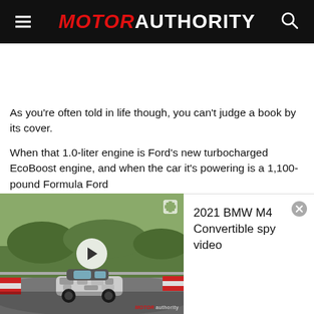MOTOR AUTHORITY
As you're often told in life though, you can't judge a book by its cover.
When that 1.0-liter engine is Ford's new turbocharged EcoBoost engine, and when the car it's powering is a 1,100-pound Formula Ford
[Figure (screenshot): Embedded video widget showing a 2021 BMW M4 Convertible spy video with a thumbnail of a camouflaged BMW M4 Convertible on a racetrack (Nurburgring). The widget includes a play button on the left video thumbnail, an expand icon, a close button (x), and a Motor Authority watermark. Title reads '2021 BMW M4 Convertible spy video'.]